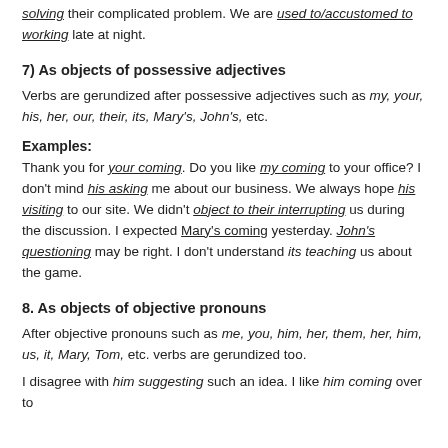solving their complicated problem. We are used to/accustomed to working late at night.
7) As objects of possessive adjectives
Verbs are gerundized after possessive adjectives such as my, your, his, her, our, their, its, Mary's, John's, etc.
Examples:
Thank you for your coming. Do you like my coming to your office? I don't mind his asking me about our business. We always hope his visiting to our site. We didn't object to their interrupting us during the discussion. I expected Mary's coming yesterday. John's questioning may be right. I don't understand its teaching us about the game.
8. As objects of objective pronouns
After objective pronouns such as me, you, him, her, them, her, him, us, it, Mary, Tom, etc. verbs are gerundized too.
I disagree with him suggesting such an idea. I like him coming over to